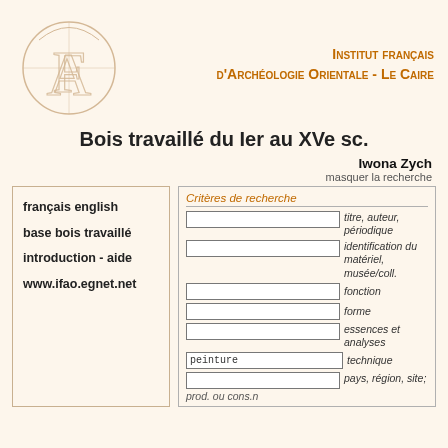[Figure (logo): IFAO circular logo with letters A and F intertwined]
Institut français d'archéologie orientale - Le Caire
Bois travaillé du Ier au XVe sc.
Iwona Zych
masquer la recherche
français english
base bois travaillé
introduction - aide
www.ifao.egnet.net
Critères de recherche
titre, auteur, périodique
identification du matériel, musée/coll.
fonction
forme
essences et analyses
peinture — technique
pays, région, site; prod. ou cons.n